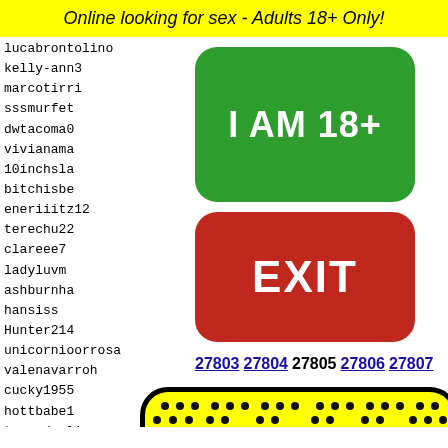Online looking for sex - Adults 18+ Only!
lucabrontolino
kelly-ann3
marcotirri
sssmurfet...
dwtacoma0...
vivianama...
10inchsla...
bitchisbe...
eneriiitz12
terechu22
clareee7
ladyluvm...
ashburnha...
hansiss
Hunter214
unicornioorrosa
valenavarroh
cucky1955
hottbabe1
texasdarlin
el_din
lemon0...
marius...
JStewi...
kyleli...
minnea...
[Figure (other): Green button saying I AM 18+]
[Figure (other): Red button saying EXIT]
27803 27804 27805 27806 27807
[Figure (illustration): Yellow rounded rectangle with black dots pattern and emoji face with bow tie at bottom]